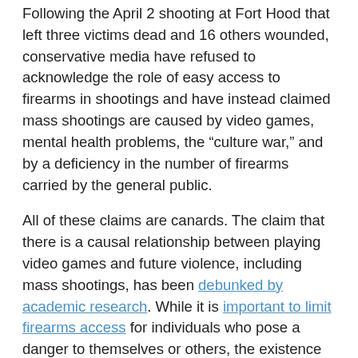Following the April 2 shooting at Fort Hood that left three victims dead and 16 others wounded, conservative media have refused to acknowledge the role of easy access to firearms in shootings and have instead claimed mass shootings are caused by video games, mental health problems, the "culture war," and by a deficiency in the number of firearms carried by the general public.
All of these claims are canards. The claim that there is a causal relationship between playing video games and future violence, including mass shootings, has been debunked by academic research. While it is important to limit firearms access for individuals who pose a danger to themselves or others, the existence of a mental health condition alone is an extremely poor predictive factor for future violence. Claims that mass shootings are caused by a liberalized culture are plainly inflammatory attempts at political point scoring. And there is no evidence that locations where guns are not allowed attract mass